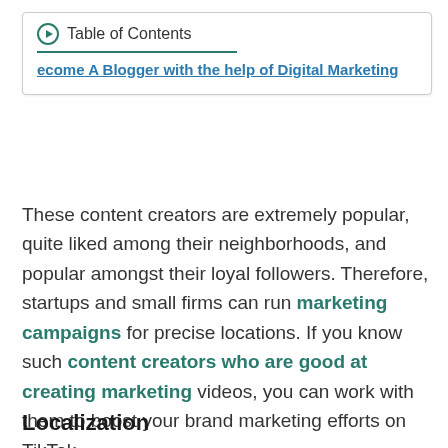Table of Contents | ecome A Blogger with the help of Digital Marketing
These content creators are extremely popular, quite liked among their neighborhoods, and popular amongst their loyal followers. Therefore, startups and small firms can run marketing campaigns for precise locations. If you know such content creators who are good at creating marketing videos, you can work with them to boost your brand marketing efforts on TikTok.
Localization